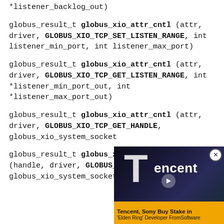*listener_backlog_out)
globus_result_t globus_xio_attr_cntl (attr, driver, GLOBUS_XIO_TCP_SET_LISTEN_RANGE, int listener_min_port, int listener_max_port)
globus_result_t globus_xio_attr_cntl (attr, driver, GLOBUS_XIO_TCP_GET_LISTEN_RANGE, int *listener_min_port_out, int *listener_max_port_out)
globus_result_t globus_xio_attr_cntl (attr, driver, GLOBUS_XIO_TCP_GET_HANDLE, globus_xio_system_socket...
globus_result_t globus_x... (handle, driver, GLOBUS_... globus_xio_system_socket...
[Figure (photo): Advertisement overlay showing Tencent logo/branding with headline 'Tencent, Sony Buy Stake in Elden Ring Developer FromSoftware' on an orange caption bar. A close (X) button appears at top right.]